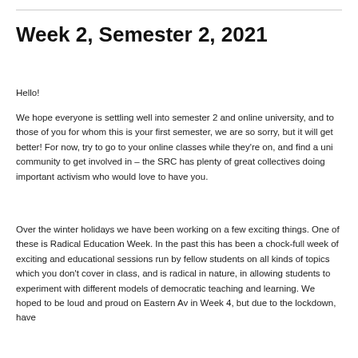Week 2, Semester 2, 2021
Hello!
We hope everyone is settling well into semester 2 and online university, and to those of you for whom this is your first semester, we are so sorry, but it will get better! For now, try to go to your online classes while they're on, and find a uni community to get involved in – the SRC has plenty of great collectives doing important activism who would love to have you.
Over the winter holidays we have been working on a few exciting things. One of these is Radical Education Week. In the past this has been a chock-full week of exciting and educational sessions run by fellow students on all kinds of topics which you don't cover in class, and is radical in nature, in allowing students to experiment with different models of democratic teaching and learning. We hoped to be loud and proud on Eastern Av in Week 4, but due to the lockdown, have